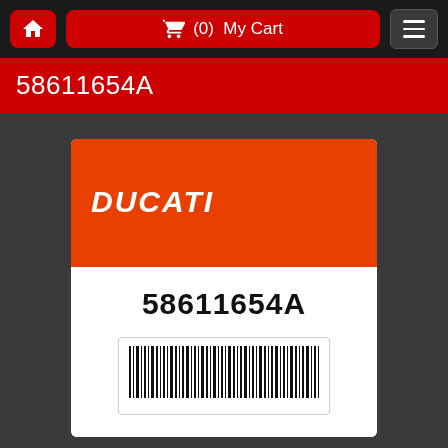🏠 (0) My Cart ☰
58611654A
[Figure (photo): Ducati genuine parts product label card showing part number 58611654A with orange/red top section bearing the DUCATI logo in white italic bold text, and a white bottom section with the part number in large bold black text and a barcode below it.]
Fuel tank